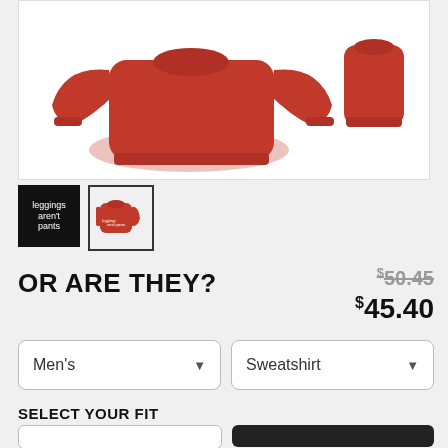[Figure (photo): Red crewneck sweatshirt product photo on white background, showing front and back views]
[Figure (photo): Thumbnail 1: Black square with white cursive text 'leggings arent pants']
[Figure (photo): Thumbnail 2: Selected thumbnail showing red sweatshirt with white text, bordered in black]
OR ARE THEY?
$50.45 (original price, struck through)
$45.40 (sale price)
Men's (dropdown)
Sweatshirt (dropdown)
SELECT YOUR FIT